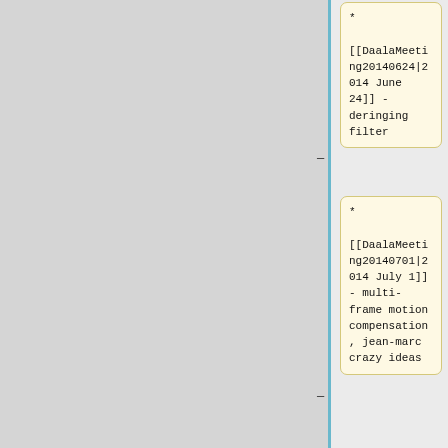* [[DaalaMeeting20140624|2014 June 24]] - deringing filter
* [[DaalaMeeting20140701|2014 July 1]] - multi-frame motion compensation, jean-marc crazy ideas
* [[DaalaMeeting20140708|2014 July 8]]